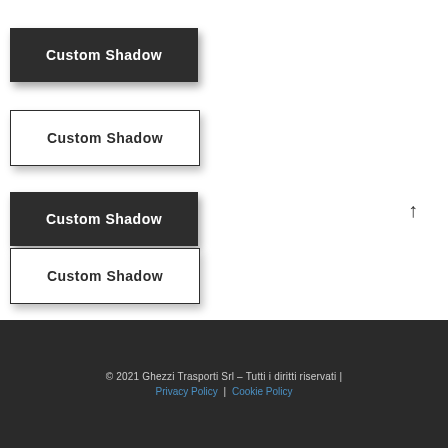[Figure (screenshot): Four buttons labeled 'Custom Shadow' with different shadow/border styles — two dark background buttons and two white background buttons with borders]
© 2021 Ghezzi Trasporti Srl – Tutti i diritti riservati | Privacy Policy | Cookie Policy